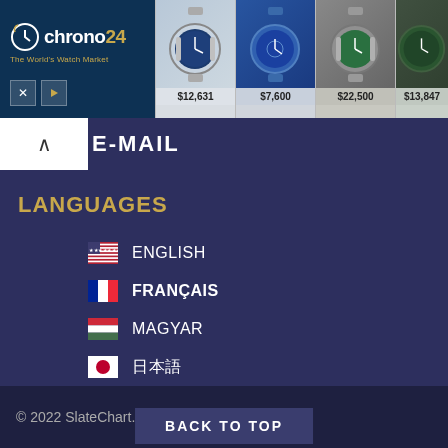[Figure (screenshot): Chrono24 advertisement banner showing luxury watches with prices: $12,631, $7,600, $22,500, $13,847]
E-MAIL
LANGUAGES
ENGLISH
FRANÇAIS
MAGYAR
日本語
© 2022 SlateChart.com. All rights reserved.
BACK TO TOP